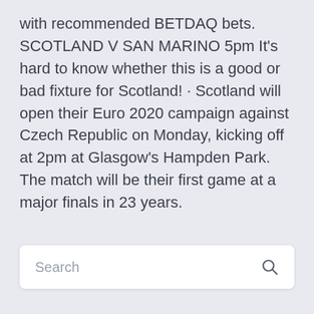with recommended BETDAQ bets. SCOTLAND V SAN MARINO 5pm It's hard to know whether this is a good or bad fixture for Scotland! · Scotland will open their Euro 2020 campaign against Czech Republic on Monday, kicking off at 2pm at Glasgow's Hampden Park. The match will be their first game at a major finals in 23 years.
Search